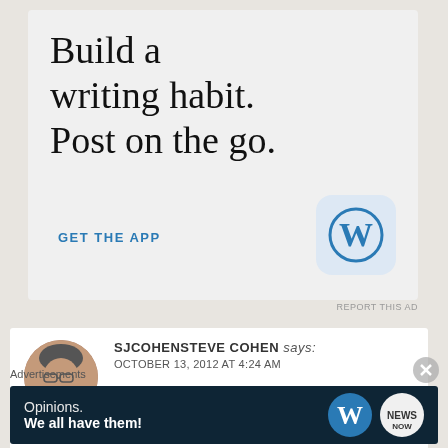[Figure (screenshot): WordPress advertisement banner with text 'Build a writing habit. Post on the go.' and 'GET THE APP' CTA with WordPress logo icon]
REPORT THIS AD
SJCOHENSTEVE COHEN says: OCTOBER 13, 2012 AT 4:24 AM
I am so sorry you have been betrayed. I too know this pain very well. May
[Figure (screenshot): Close/dismiss button (X in circle)]
Advertisements
[Figure (screenshot): WordPress advertisement bar: 'Opinions. We all have them!' with WordPress and NOW logos on dark background]